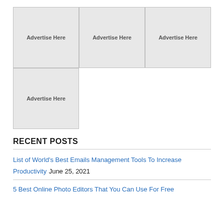[Figure (other): 3x2 grid of advertisement placeholder boxes labeled 'Advertise Here', with top row having 3 boxes and bottom row having 1 box on the left]
RECENT POSTS
List of World's Best Emails Management Tools To Increase Productivity June 25, 2021
5 Best Online Photo Editors That You Can Use For Free